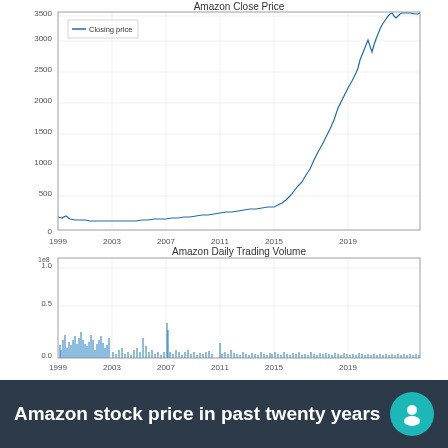[Figure (continuous-plot): Two stacked line/area charts. Top chart: Amazon Close Price from 1999 to ~2021, y-axis 0 to 3500, showing exponential growth especially after 2015, peaking near 3500. Legend shows 'Closing price' as a blue line. Bottom chart: Amazon Daily Trading Volume from 1999 to ~2021, y-axis 0 to 1.0 (x1e8), showing high volume spikes early (1999-2003) and scattered spikes throughout.]
Amazon stock price in past twenty years